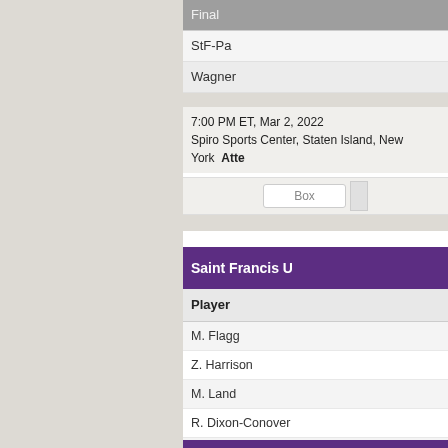| Final |
| --- |
| StF-Pa |
| Wagner |
7:00 PM ET, Mar 2, 2022
Spiro Sports Center, Staten Island, New York  Atte
Box
Saint Francis U
| Player |
| --- |
| M. Flagg |
| Z. Harrison |
| M. Land |
| R. Dixon-Conover |
| A. Labriola |
| M. Hargis |
| J. Coleman |
| M. Thompson |
| C. Ikediashi |
| Totals |